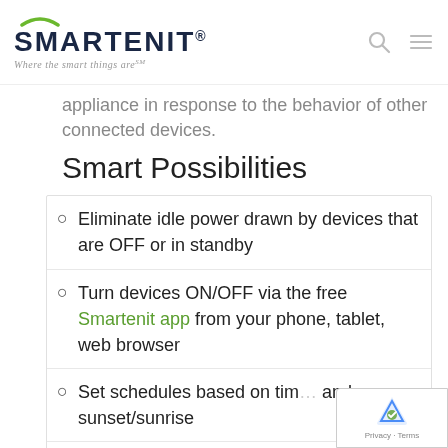SMARTENIT® — Where the smart things are℠
appliance in response to the behavior of other connected devices.
Smart Possibilities
Eliminate idle power drawn by devices that are OFF or in standby
Turn devices ON/OFF via the free Smartenit app from your phone, tablet, web browser
Set schedules based on time and sunset/sunrise
Turn off appliance when